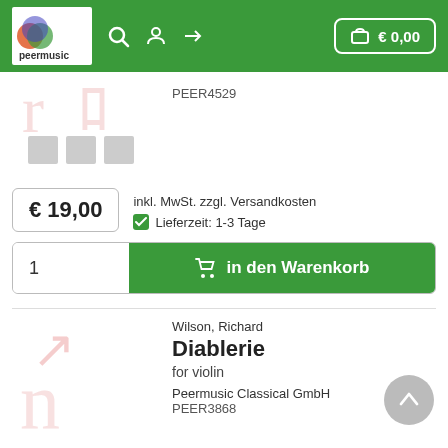peermusic | € 0,00
PEER4529
€ 19,00
inkl. MwSt. zzgl. Versandkosten
Lieferzeit: 1-3 Tage
1
in den Warenkorb
Wilson, Richard
Diablerie
for violin
Peermusic Classical GmbH
PEER3868